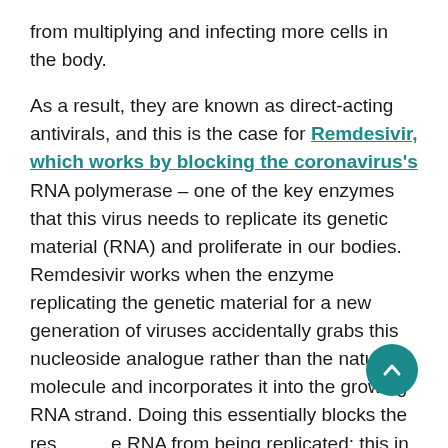from multiplying and infecting more cells in the body.
As a result, they are known as direct-acting antivirals, and this is the case for Remdesivir, which works by blocking the coronavirus's RNA polymerase – one of the key enzymes that this virus needs to replicate its genetic material (RNA) and proliferate in our bodies. Remdesivir works when the enzyme replicating the genetic material for a new generation of viruses accidentally grabs this nucleoside analogue rather than the natural molecule and incorporates it into the growing RNA strand. Doing this essentially blocks the rest of the RNA from being replicated; this in turn prevents